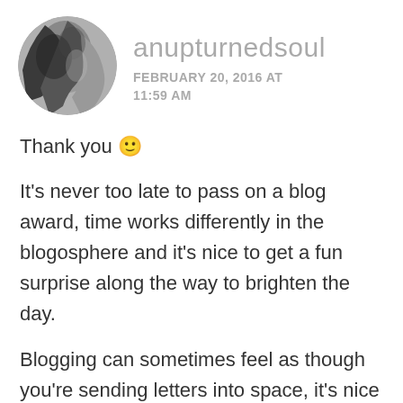[Figure (photo): Circular avatar image showing a black and white photograph of a person with their hand near their face]
anupturnedsoul
FEBRUARY 20, 2016 AT 11:59 AM
Thank you 🙂
It's never too late to pass on a blog award, time works differently in the blogosphere and it's nice to get a fun surprise along the way to brighten the day.
Blogging can sometimes feel as though you're sending letters into space, it's nice to know that